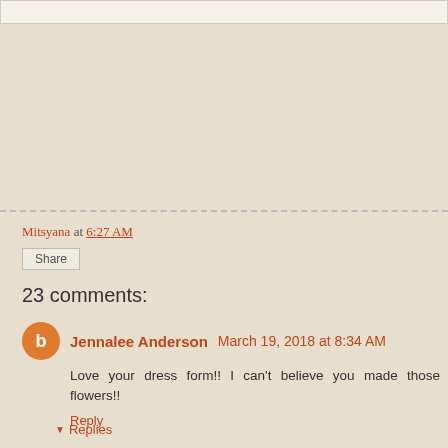Mitsyana at 6:27 AM
Share
23 comments:
Jennalee Anderson March 19, 2018 at 8:34 AM
Love your dress form!! I can't believe you made those flowers!!
Reply
Replies
Mitsyana March 19, 2018 at 10:51 AM
Thank you, Jennalee!! The flowers were so easy